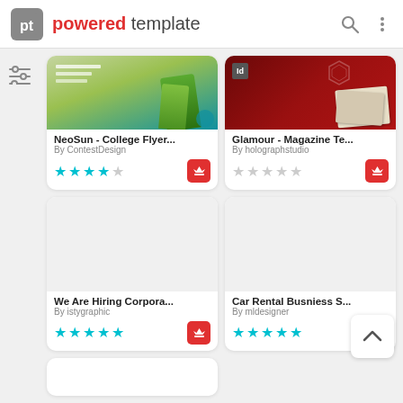[Figure (screenshot): Powered Template app header with logo, brand name, search icon, and menu icon]
[Figure (screenshot): NeoSun - College Flyer template card with green design, 4-star rating, and crown premium badge. By ContestDesign.]
[Figure (screenshot): Glamour - Magazine Template card with red/dark design, 0-star rating, and crown premium badge. By holographstudio.]
[Figure (screenshot): We Are Hiring Corporate template card with blank preview, 5-star rating, and crown premium badge. By istygraphic.]
[Figure (screenshot): Car Rental Busniess S... template card with blank preview, 5-star rating, and crown premium badge. By mldesigner.]
[Figure (screenshot): Partially visible fifth card at the bottom left]